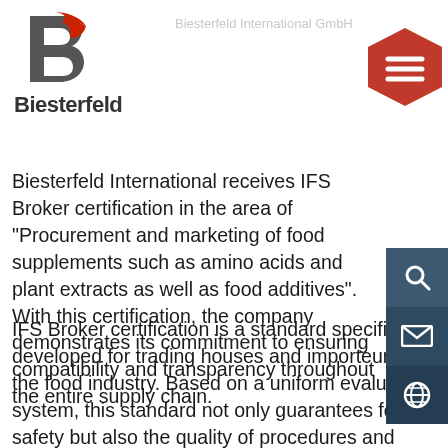[Figure (logo): Biesterfeld company logo with red and grey B icon and bold Biesterfeld text]
[Figure (other): Red hexagon menu button with three horizontal white lines (hamburger menu)]
Biesterfeld International GmbH
Biesterfeld International receives IFS Broker certification in the area of "Procurement and marketing of food supplements such as amino acids and plant extracts as well as food additives". With this certification, the company demonstrates its commitment to ensuring compatibility and transparency throughout the entire supply chain.
IFS Broker certification is a standard specifically developed for trading houses and importeurs in the food industry. Based on a uniform evaluation system, this standard not only guarantees food safety but also the quality of procedures and products.
[Figure (other): Right sidebar with three icon buttons: search (magnifying glass), mail (envelope), globe (language selector) on dark blue-grey background]